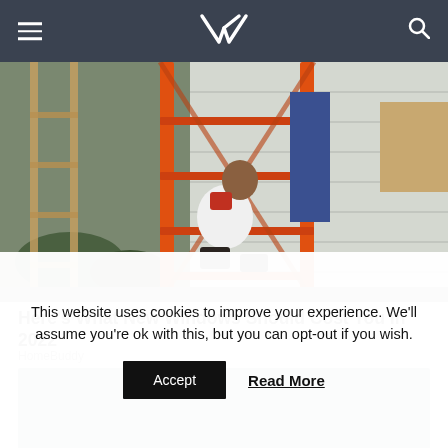VR (logo with hamburger menu and search icon)
[Figure (photo): A person working on a ladder (orange fiberglass ladder) against the side of a house, appears to be installing or inspecting windows/siding. Another person visible on or near the ladder.]
Here's What New Windows Should Cost You In 2022
HomeBuddy
[Figure (photo): A blurred/placeholder grey image, second article thumbnail]
This website uses cookies to improve your experience. We'll assume you're ok with this, but you can opt-out if you wish.
Accept
Read More